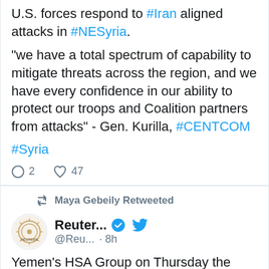U.S. forces respond to #Iran aligned attacks in #NESyria.

"we have a total spectrum of capability to mitigate threats across the region, and we have every confidence in our ability to protect our troops and Coalition partners from attacks" - Gen. Kurilla, #CENTCOM

#Syria
2 replies, 47 likes
Maya Gebeily Retweeted
Reuter... @Reu... · 8h
Yemen's HSA Group on Thursday the first...